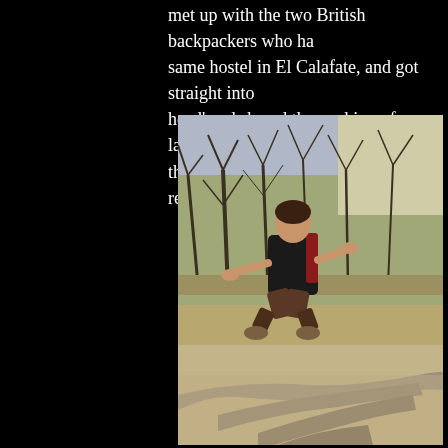met up with the two British backpackers who had stayed at the same hostel in El Calafate, and got straight into 'let's use our head' and shared the cooking of a lamb curry and dined with them, given there were no open restauarants to...
[Figure (photo): A woman crouching outdoors on sandy ground with driftwood/branches arranged in front of her. She is wearing dark clothing and a red backpack. Background shows bare trees and dry grass on a hillside in natural light.]